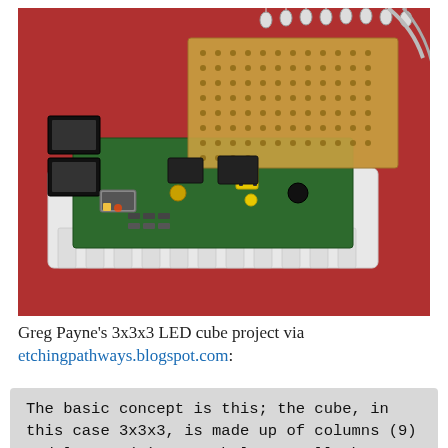[Figure (photo): Photograph of a Raspberry Pi board with a 3x3x3 LED cube mounted on top via a perfboard, placed on a red surface. The board shows USB ports, HDMI, and the LED array with wires.]
Greg Payne's 3x3x3 LED cube project via etchingpathways.blogspot.com:
The basic concept is this; the cube, in this case 3x3x3, is made up of columns (9) and layers (3).On each layer, all the cathodes are connected together and in each column, the anodes are connected together. Therefore,